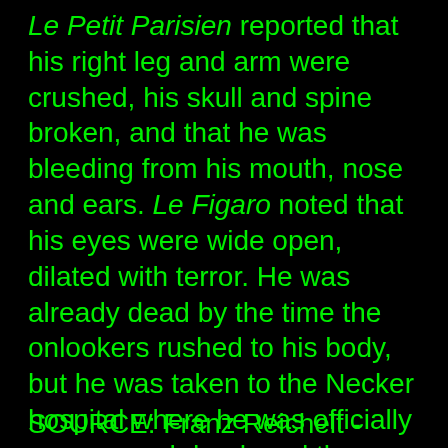Le Petit Parisien reported that his right leg and arm were crushed, his skull and spine broken, and that he was bleeding from his mouth, nose and ears. Le Figaro noted that his eyes were wide open, dilated with terror. He was already dead by the time the onlookers rushed to his body, but he was taken to the Necker hospital where he was officially pronounced dead, and then on to a police station in the rue Amelie before being returned to his home in rue Gaillon.
SOURCE: Franz Reichelt -